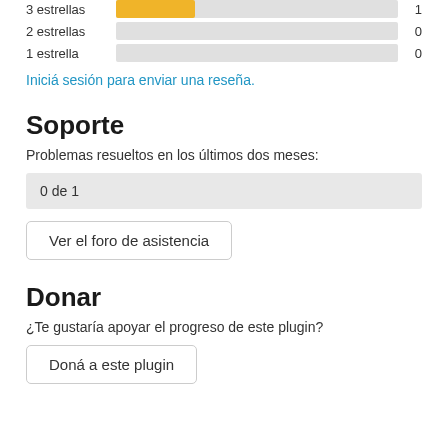[Figure (bar-chart): Ratings]
Iniciá sesión para enviar una reseña.
Soporte
Problemas resueltos en los últimos dos meses:
0 de 1
Ver el foro de asistencia
Donar
¿Te gustaría apoyar el progreso de este plugin?
Doná a este plugin